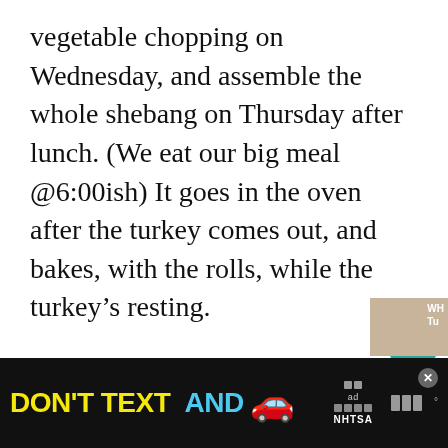vegetable chopping on Wednesday, and assemble the whole shebang on Thursday after lunch. (We eat our big meal @6:00ish) It goes in the oven after the turkey comes out, and bakes, with the rolls, while the turkey's resting.
Now, as to the promised recipe. I found the original recipe on epicurious.com, but it was a Bon Appétit recipe originally. I have changed several of the ingredients to some things we like better, and now, this one's my own version of·
[Figure (other): Ad banner: DON'T TEXT AND [car emoji] with NHTSA branding on black background]